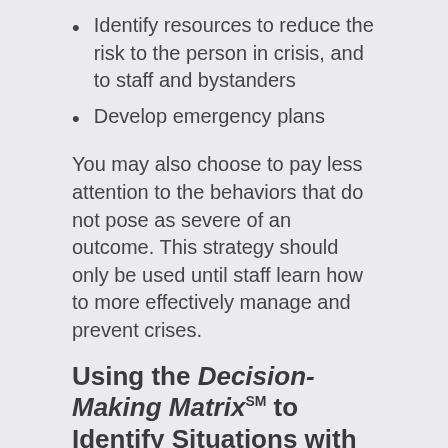Identify resources to reduce the risk to the person in crisis, and to staff and bystanders
Develop emergency plans
You may also choose to pay less attention to the behaviors that do not pose as severe of an outcome. This strategy should only be used until staff learn how to more effectively manage and prevent crises.
Using the Decision-Making Matrixˢᴹ to Identify Situations with Severe Outcomes